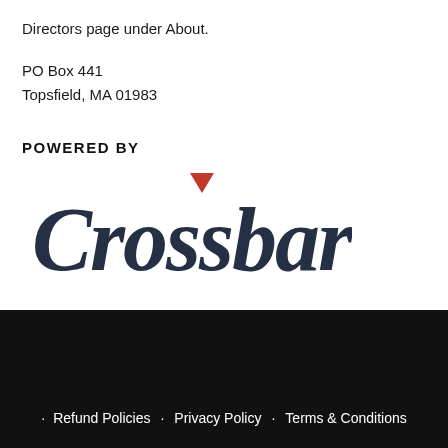Directors page under About.
PO Box 441
Topsfield, MA 01983
POWERED BY
[Figure (logo): Crossbar logo in dark navy script lettering with a red triangular accent above the letter 's']
· Refund Policies · Privacy Policy · Terms & Conditions